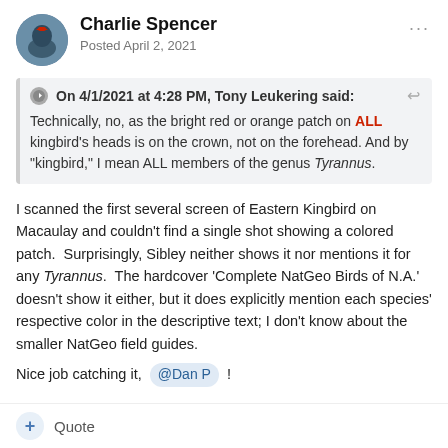Charlie Spencer — Posted April 2, 2021
On 4/1/2021 at 4:28 PM, Tony Leukering said: Technically, no, as the bright red or orange patch on ALL kingbird's heads is on the crown, not on the forehead. And by "kingbird," I mean ALL members of the genus Tyrannus.
I scanned the first several screen of Eastern Kingbird on Macaulay and couldn't find a single shot showing a colored patch.  Surprisingly, Sibley neither shows it nor mentions it for any Tyrannus.  The hardcover 'Complete NatGeo Birds of N.A.' doesn't show it either, but it does explicitly mention each species' respective color in the descriptive text; I don't know about the smaller NatGeo field guides.
Nice job catching it, @Dan P !